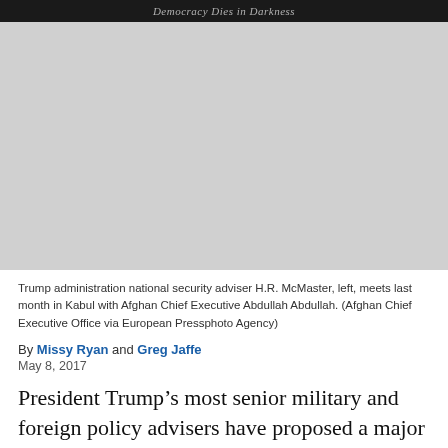Democracy Dies in Darkness
[Figure (photo): Gray placeholder area representing a photo of Trump administration national security adviser H.R. McMaster meeting with Afghan Chief Executive Abdullah Abdullah in Kabul.]
Trump administration national security adviser H.R. McMaster, left, meets last month in Kabul with Afghan Chief Executive Abdullah Abdullah. (Afghan Chief Executive Office via European Pressphoto Agency)
By Missy Ryan and Greg Jaffe
May 8, 2017
President Trump’s most senior military and foreign policy advisers have proposed a major shift in strategy in Afghanistan that would effectively put the United States back on a war footing with the Taliban.